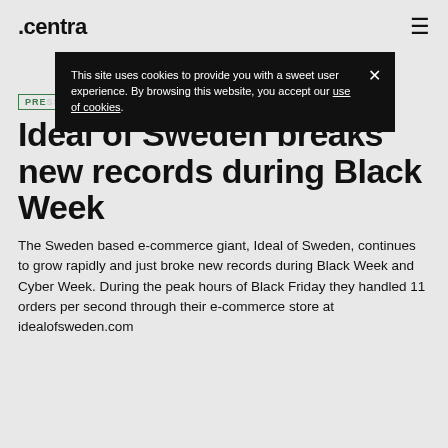.centra ≡
This site uses cookies to provide you with a sweet user experience. By browsing this website, you accept our use of cookies.
PRESS
Ideal of Sweden breaks new records during Black Week
The Sweden based e-commerce giant, Ideal of Sweden, continues to grow rapidly and just broke new records during Black Week and Cyber Week. During the peak hours of Black Friday they handled 11 orders per second through their e-commerce store at idealofsweden.com